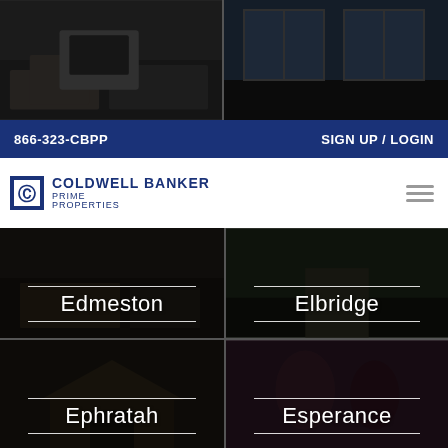[Figure (photo): Two property interior/exterior photos at top of page, side by side]
866-323-CBPP    SIGN UP / LOGIN
[Figure (logo): Coldwell Banker Prime Properties logo with hamburger menu icon]
[Figure (photo): Grid of four location photos: Edmeston, Elbridge, Ephratah, Esperance with city name labels]
Edmeston
Elbridge
Ephratah
Esperance